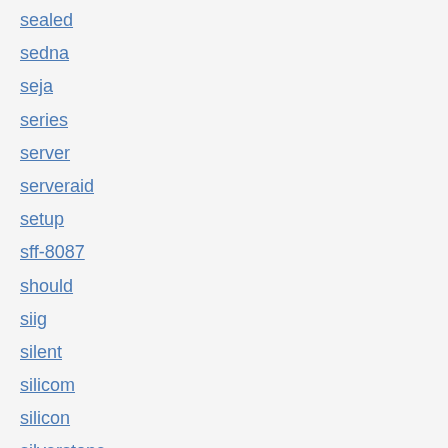sealed
sedna
seja
series
server
serveraid
setup
sff-8087
should
siig
silent
silicom
silicon
silverstone
single
skylake
skynet
slot
sm951
smart